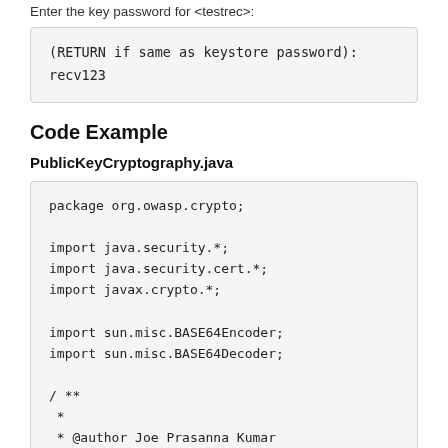Enter the key password for <testrec>:
(RETURN if same as keystore password):
recv123
Code Example
PublicKeyCryptography.java
package org.owasp.crypto;

import java.security.*;
import java.security.cert.*;
import javax.crypto.*;

import sun.misc.BASE64Encoder;
import sun.misc.BASE64Decoder;

/ **
 *
 * @author Joe Prasanna Kumar
 *
 * 1. Encrypt data using a symmetric key